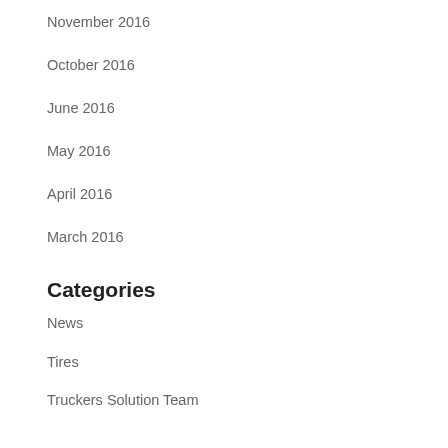November 2016
October 2016
June 2016
May 2016
April 2016
March 2016
Categories
News
Tires
Truckers Solution Team
Meta
Log in
Entries feed